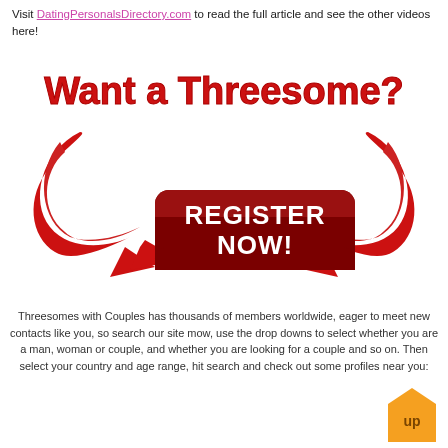Visit DatingPersonalsDirectory.com to read the full article and see the other videos here!
[Figure (infographic): Red and white banner reading 'Want a Threesome?' with two large red arrow/swirl graphics pointing to a dark red rounded rectangle button that says 'REGISTER NOW!' in white bold text.]
Threesomes with Couples has thousands of members worldwide, eager to meet new contacts like you, so search our site mow, use the drop downs to select whether you are a man, woman or couple, and whether you are looking for a couple and so on. Then select your country and age range, hit search and check out some profiles near you:
[Figure (illustration): Orange pentagon/house-shaped button with the word 'up' in brown text.]